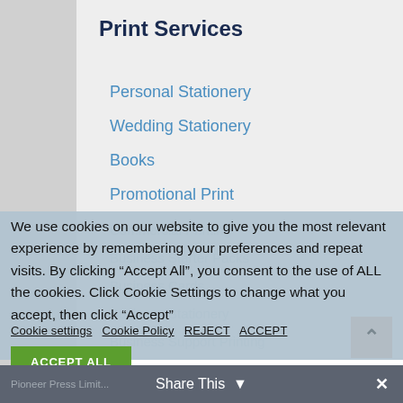Print Services
Personal Stationery
Wedding Stationery
Books
Promotional Print
Commercial Printing
Business Starter Packs
Business Cards
Business Stationery
Business Support Printing
We use cookies on our website to give you the most relevant experience by remembering your preferences and repeat visits. By clicking “Accept All”, you consent to the use of ALL the cookies. Click Cookie Settings to change what you accept, then click “Accept”
Cookie settings   Cookie Policy   REJECT   ACCEPT
ACCEPT ALL
Share This
Pioneer Press Limit...